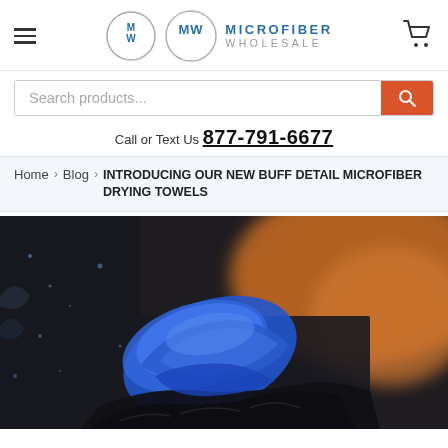Microfiber Wholesale — navigation header with hamburger menu, logo, and cart icon
Search products...
Call or Text Us 877-791-6677
Home > Blog > INTRODUCING OUR NEW BUFF DETAIL MICROFIBER DRYING TOWELS
[Figure (photo): Close-up photo of a blue microfiber drying towel draped over a wet, dark surface (car body), with water droplets visible and a warm orange background blur.]